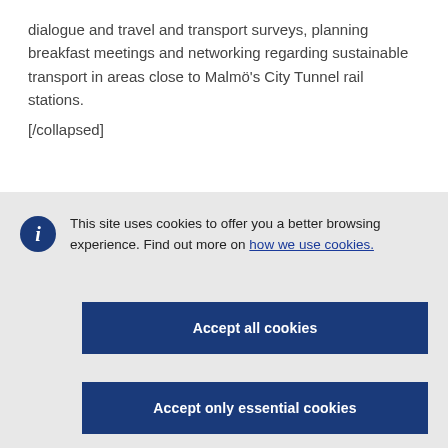dialogue and travel and transport surveys, planning breakfast meetings and networking regarding sustainable transport in areas close to Malmö's City Tunnel rail stations.
[/collapsed]
This site uses cookies to offer you a better browsing experience. Find out more on how we use cookies.
Accept all cookies
Accept only essential cookies